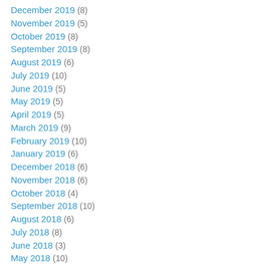December 2019 (8)
November 2019 (5)
October 2019 (8)
September 2019 (8)
August 2019 (6)
July 2019 (10)
June 2019 (5)
May 2019 (5)
April 2019 (5)
March 2019 (9)
February 2019 (10)
January 2019 (6)
December 2018 (6)
November 2018 (6)
October 2018 (4)
September 2018 (10)
August 2018 (6)
July 2018 (8)
June 2018 (3)
May 2018 (10)